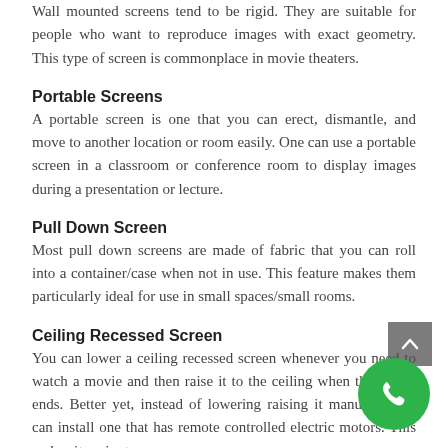Wall mounted screens tend to be rigid. They are suitable for people who want to reproduce images with exact geometry. This type of screen is commonplace in movie theaters.
Portable Screens
A portable screen is one that you can erect, dismantle, and move to another location or room easily. One can use a portable screen in a classroom or conference room to display images during a presentation or lecture.
Pull Down Screen
Most pull down screens are made of fabric that you can roll into a container/case when not in use. This feature makes them particularly ideal for use in small spaces/small rooms.
Ceiling Recessed Screen
You can lower a ceiling recessed screen whenever you need to watch a movie and then raise it to the ceiling when the movie ends. Better yet, instead of lowering raising it manually, you can install one that has remote controlled electric motors. This makes it easier to